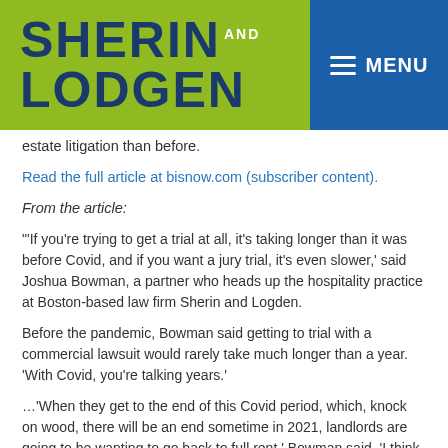[Figure (logo): Sherin and Lodgen law firm logo with green background and blue menu button]
estate litigation than before.
Read the full article at bisnow.com (subscriber content).
From the article:
"'If you're trying to get a trial at all, it's taking longer than it was before Covid, and if you want a jury trial, it's even slower,' said Joshua Bowman, a partner who heads up the hospitality practice at Boston-based law firm Sherin and Logden.
Before the pandemic, Bowman said getting to trial with a commercial lawsuit would rarely take much longer than a year. 'With Covid, you're talking years.'
…'When they get to the end of this Covid period, which, knock on wood, there will be an end sometime in 2021, landlords are going to be wanting to go back to full rent,' Bowman said. 'I think landlords and tenants have been kicking the can down